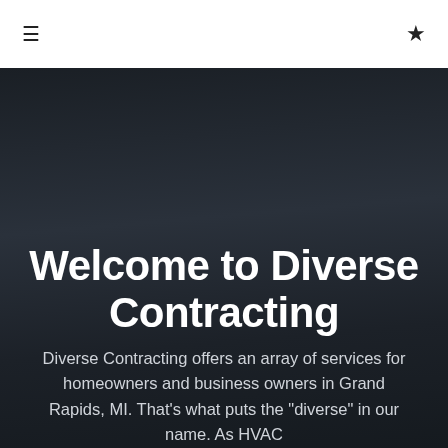☰ ★
Welcome to Diverse Contracting
Diverse Contracting offers an array of services for homeowners and business owners in Grand Rapids, MI. That's what puts the "diverse" in our name. As HVAC